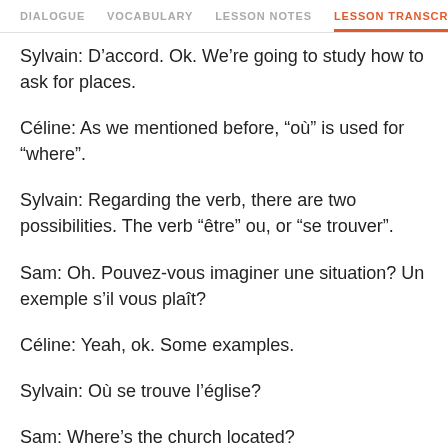DIALOGUE  VOCABULARY  LESSON NOTES  LESSON TRANSCRIPT
Sylvain: D’accord. Ok. We’re going to study how to ask for places.
Céline: As we mentioned before, “où” is used for “where”.
Sylvain: Regarding the verb, there are two possibilities. The verb “être” ou, or “se trouver”.
Sam: Oh. Pouvez-vous imaginer une situation? Un exemple s’il vous plaît?
Céline: Yeah, ok. Some examples.
Sylvain: Où se trouve l’église?
Sam: Where’s the church located?